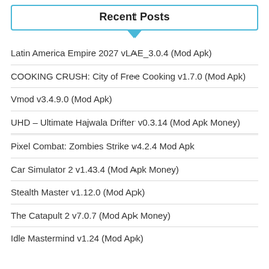Recent Posts
Latin America Empire 2027 vLAE_3.0.4 (Mod Apk)
COOKING CRUSH: City of Free Cooking v1.7.0 (Mod Apk)
Vmod v3.4.9.0 (Mod Apk)
UHD – Ultimate Hajwala Drifter v0.3.14 (Mod Apk Money)
Pixel Combat: Zombies Strike v4.2.4 Mod Apk
Car Simulator 2 v1.43.4 (Mod Apk Money)
Stealth Master v1.12.0 (Mod Apk)
The Catapult 2 v7.0.7 (Mod Apk Money)
Idle Mastermind v1.24 (Mod Apk)